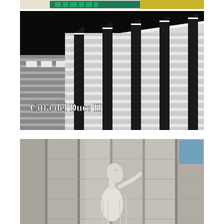[Figure (photo): Partial top of a photograph showing green and yellow architectural or signage elements, cropped at the top of the page]
[Figure (photo): Black and white photograph of a modernist building facade viewed from below at an angle, showing strong vertical columns/pilasters and horizontal banded stonework against a dark sky. White text overlay reads 'Città del Duce II'.]
[Figure (photo): Black and white photograph showing a marble or stone statue of a human figure with head tilted back, positioned in front of a tiled/paneled architectural background with vertical elements. A light blue translucent square overlay appears in the upper right corner.]